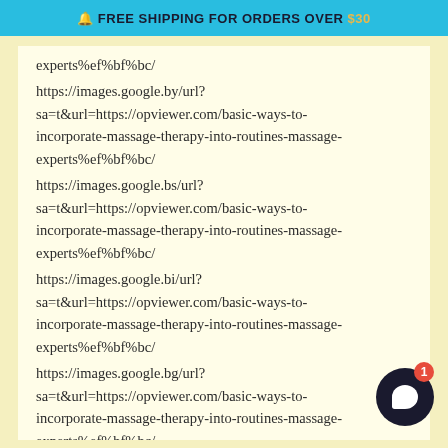🔔 FREE SHIPPING FOR ORDERS OVER $30
experts%ef%bf%bc/
https://images.google.by/url?sa=t&url=https://opviewer.com/basic-ways-to-incorporate-massage-therapy-into-routines-massage-experts%ef%bf%bc/
https://images.google.bs/url?sa=t&url=https://opviewer.com/basic-ways-to-incorporate-massage-therapy-into-routines-massage-experts%ef%bf%bc/
https://images.google.bi/url?sa=t&url=https://opviewer.com/basic-ways-to-incorporate-massage-therapy-into-routines-massage-experts%ef%bf%bc/
https://images.google.bg/url?sa=t&url=https://opviewer.com/basic-ways-to-incorporate-massage-therapy-into-routines-massage-experts%ef%bf%bc/
https://images.google.bf/url?sa=t&url=https://opviewer.com/basic-ways-to-incorporate-massage-therapy-into-routines-massage-experts%ef%bf%bc/